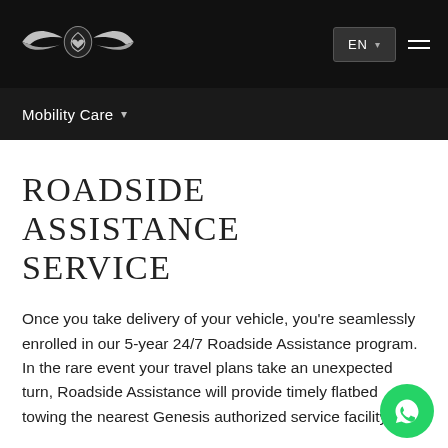Genesis logo | EN dropdown | Hamburger menu
Mobility Care
ROADSIDE ASSISTANCE SERVICE
Once you take delivery of your vehicle, you're seamlessly enrolled in our 5-year 24/7 Roadside Assistance program. In the rare event your travel plans take an unexpected turn, Roadside Assistance will provide timely flatbed towing the nearest Genesis authorized service facility.